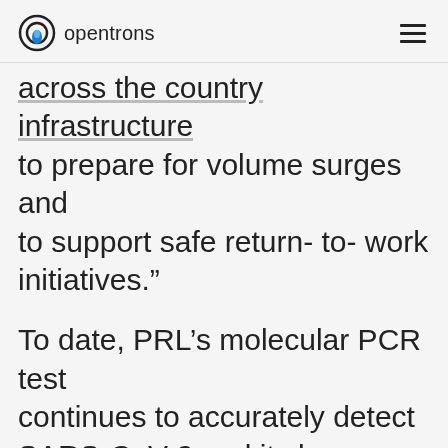opentrons
across the country infrastructure to prepare for volume surges and to support safe return- to- work initiatives.”
To date, PRL’s molecular PCR test continues to accurately detect SARS-CoV-2 and its known variants, including Omicron. Further, PRL’s unique massively